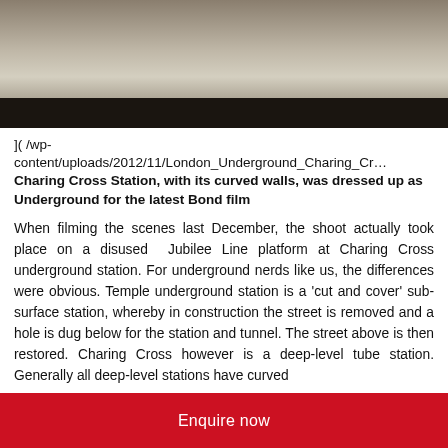[Figure (photo): London Underground platform photo showing a station platform with yellow tactile strip and dark track area]
]( /wp-content/uploads/2012/11/London_Underground_Charing_Cr… Charing Cross Station, with its curved walls, was dressed up as Underground for the latest Bond film
When filming the scenes last December, the shoot actually took place on a disused Jubilee Line platform at Charing Cross underground station. For underground nerds like us, the differences were obvious. Temple underground station is a 'cut and cover' sub-surface station, whereby in construction the street is removed and a hole is dug below for the station and tunnel. The street above is then restored. Charing Cross however is a deep-level tube station. Generally all deep-level stations have curved
Enquire now